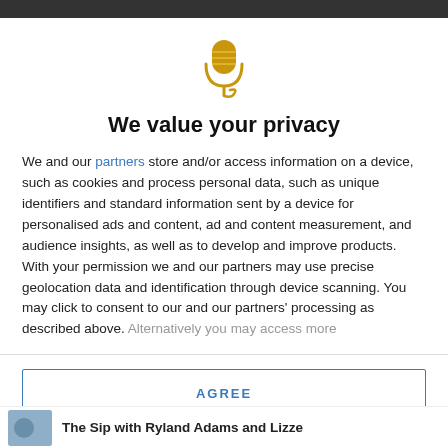[Figure (illustration): Golden microphone icon with cable swirl at bottom]
We value your privacy
We and our partners store and/or access information on a device, such as cookies and process personal data, such as unique identifiers and standard information sent by a device for personalised ads and content, ad and content measurement, and audience insights, as well as to develop and improve products. With your permission we and our partners may use precise geolocation data and identification through device scanning. You may click to consent to our and our partners' processing as described above. Alternatively you may access more
AGREE
MORE OPTIONS
The Sip with Ryland Adams and Lizze